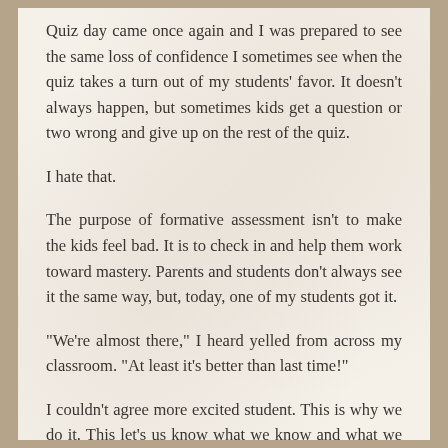Quiz day came once again and I was prepared to see the same loss of confidence I sometimes see when the quiz takes a turn out of my students' favor. It doesn't always happen, but sometimes kids get a question or two wrong and give up on the rest of the quiz.
I hate that.
The purpose of formative assessment isn't to make the kids feel bad. It is to check in and help them work toward mastery. Parents and students don't always see it the same way, but, today, one of my students got it.
"We're almost there," I heard yelled from across my classroom. "At least it's better than last time!"
I couldn't agree more excited student. This is why we do it. This let's us know what we know and what we don't. This let's us identify where we are struggling and move forward. Your grade doesn't determine the amount of my love that you earn. You are my students